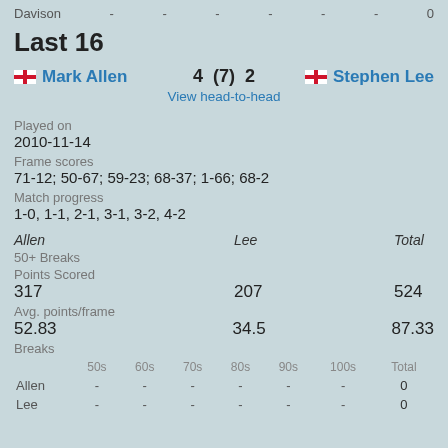Davison - - - - - - 0
Last 16
Mark Allen 4 (7) 2 Stephen Lee
View head-to-head
Played on
2010-11-14
Frame scores
71-12; 50-67; 59-23; 68-37; 1-66; 68-2
Match progress
1-0, 1-1, 2-1, 3-1, 3-2, 4-2
| Allen | Lee | Total |
| --- | --- | --- |
| 50+ Breaks |  |  |
| Points Scored |  |  |
| 317 | 207 | 524 |
| Avg. points/frame |  |  |
| 52.83 | 34.5 | 87.33 |
| Breaks |  |  |
|  | 50s | 60s | 70s | 80s | 90s | 100s | Total |
| --- | --- | --- | --- | --- | --- | --- | --- |
| Allen | - | - | - | - | - | - | 0 |
| Lee | - | - | - | - | - | - | 0 |